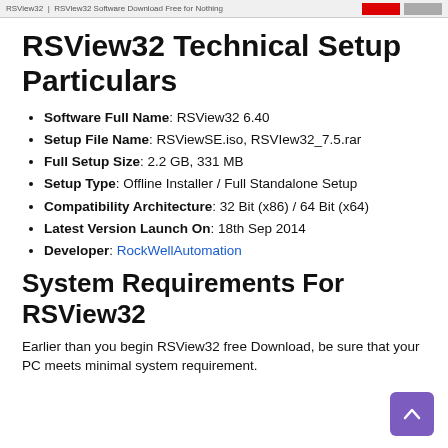RSView32 Technical Setup Particulars - browser bar
RSView32 Technical Setup Particulars
Software Full Name: RSView32 6.40
Setup File Name: RSViewSE.iso, RSVIew32_7.5.rar
Full Setup Size: 2.2 GB, 331 MB
Setup Type: Offline Installer / Full Standalone Setup
Compatibility Architecture: 32 Bit (x86) / 64 Bit (x64)
Latest Version Launch On: 18th Sep 2014
Developer: RockWellAutomation
System Requirements For RSView32
Earlier than you begin RSView32 free Download, be sure that your PC meets minimal system requirement.